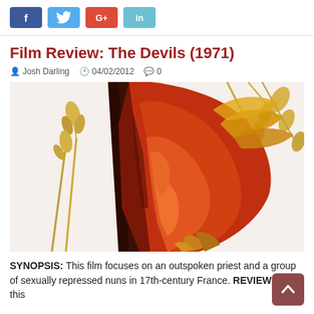[Figure (infographic): Social media share buttons: Facebook (f), Twitter (bird), Google+ (G+), LinkedIn (in)]
Film Review: The Devils (1971)
Josh Darling  04/02/2012  0
[Figure (photo): Movie poster or artwork for The Devils (1971) showing dramatic red and orange painted figure, likely a devil or bird-like creature with feathers and wheat stalks]
SYNOPSIS: This film focuses on an outspoken priest and a group of sexually repressed nuns in 17th-century France. REVIEW: I have this